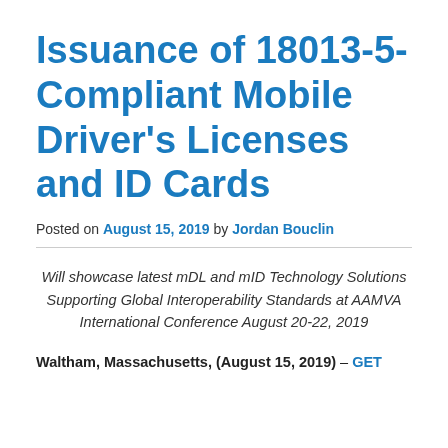Issuance of 18013-5-Compliant Mobile Driver's Licenses and ID Cards
Posted on August 15, 2019 by Jordan Bouclin
Will showcase latest mDL and mID Technology Solutions Supporting Global Interoperability Standards at AAMVA International Conference August 20-22, 2019
Waltham, Massachusetts, (August 15, 2019) – GET